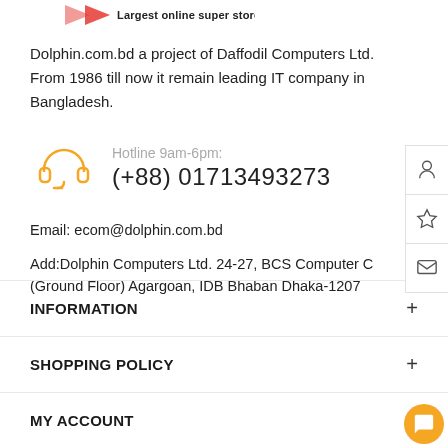[Figure (logo): Dolphin.com.bd logo - partial view at top with arrow graphic]
Dolphin.com.bd a project of Daffodil Computers Ltd. From 1986 till now it remain leading IT company in Bangladesh.
Hotline 9am-6pm: (+88) 01713493273
Email: ecom@dolphin.com.bd
Add:Dolphin Computers Ltd. 24-27, BCS Computer C (Ground Floor) Agargoan, IDB Bhaban Dhaka-1207
INFORMATION
SHOPPING POLICY
MY ACCOUNT